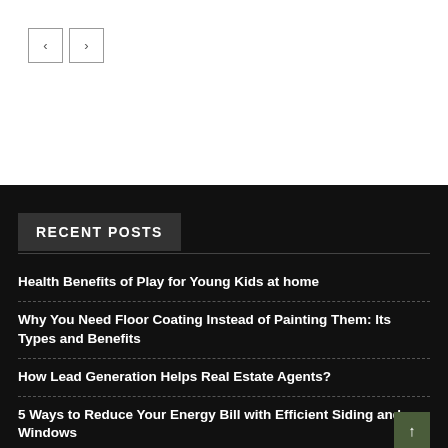[Figure (other): Navigation previous and next arrow buttons (< and >) with borders]
RECENT POSTS
Health Benefits of Play for Young Kids at home
Why You Need Floor Coating Instead of Painting Them: Its Types and Benefits
How Lead Generation Helps Real Estate Agents?
5 Ways to Reduce Your Energy Bill with Efficient Siding and Windows
8 Expert Tips for a Bathroom Makeover in Penrith